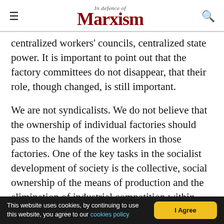In Defence of Marxism
centralized workers' councils, centralized state power. It is important to point out that the factory committees do not disappear, that their role, though changed, is still important.
We are not syndicalists. We do not believe that the ownership of individual factories should pass to the hands of the workers in those factories. One of the key tasks in the socialist development of society is the collective, social ownership of the means of production and the elimination of industrial competition within society – this begins with the
This website uses cookies, by continuing to use this website, you agree to our cookies policy | I Agree